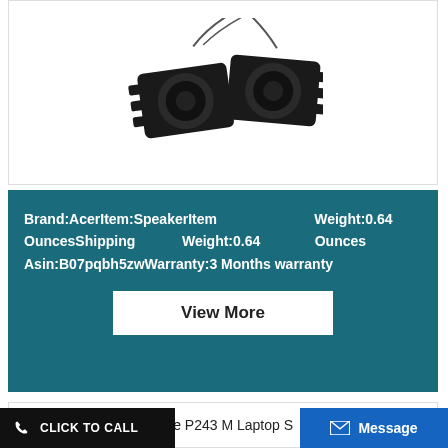[Figure (photo): Two black laptop speakers with wires on a white background]
Brand:AcerItem:SpeakerItem Weight:0.64 OuncesShipping Weight:0.64 Ounces Asin:B07pqbh5zwWarranty:3 Months warranty
View More
Acer Travelmate P243 M Laptop S
CLICK TO CALL
Message